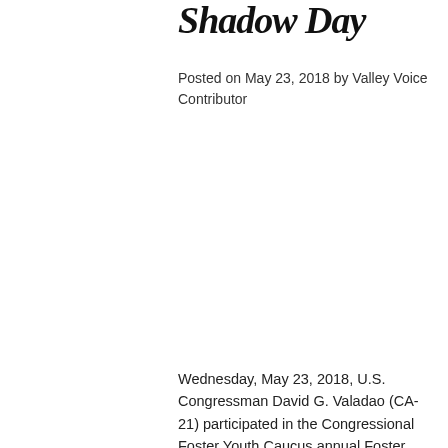Shadow Day
Posted on May 23, 2018 by Valley Voice Contributor
Wednesday, May 23, 2018, U.S. Congressman David G. Valadao (CA-21) participated in the Congressional Foster Youth Caucus annual Foster Youth Shadow Day.